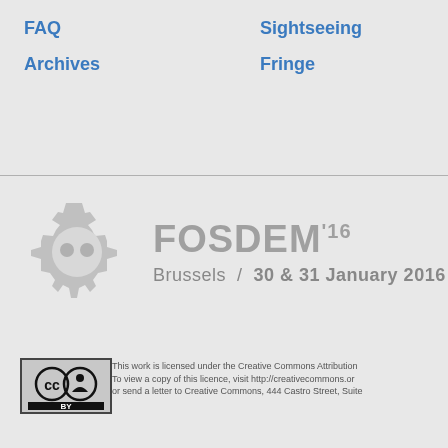FAQ
Sightseeing
Archives
Fringe
[Figure (logo): FOSDEM 2016 gear logo with two circles as eyes on a grey gear shape]
FOSDEM '16 Brussels / 30 & 31 January 2016
[Figure (logo): Creative Commons Attribution BY license logo]
This work is licensed under the Creative Commons Attribution To view a copy of this licence, visit http://creativecommons.or or send a letter to Creative Commons, 444 Castro Street, Suite